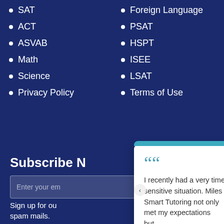SAT
Foreign Language
ACT
PSAT
ASVAB
HSPT
Math
ISEE
Science
LSAT
Privacy Policy
Terms of Use
Subscribe N…
Enter your em…
Sign up for ou… spam mails.
[Figure (other): Testimonial popup card from Karen Hanlon with 5-star Google review: 'I recently had a very time sensitive situation. Miles Smart Tutoring not only met my expectations but...' with reviewer photo and Google logo]